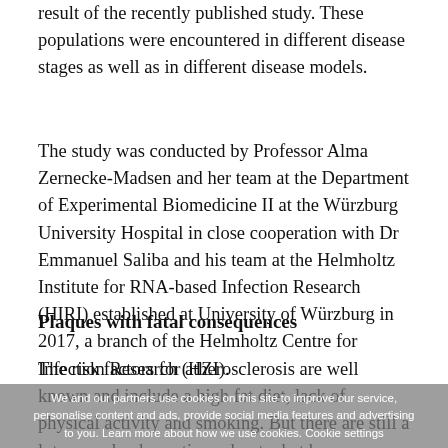result of the recently published study. These populations were encountered in different disease stages as well as in different disease models.
The study was conducted by Professor Alma Zernecke-Madsen and her team at the Department of Experimental Biomedicine II at the Würzburg University Hospital in close cooperation with Dr Emmanuel Saliba and his team at the Helmholtz Institute for RNA-based Infection Research (HIRI) established at University of Würzburg in 2017, a branch of the Helmholtz Centre for Infection Research (HZI).
Plaques with fatal consequences
The risk factors for atherosclerosis are well known and include a high fat diet, lack of physical activity and smoking. But there are still a lot unresolved questions about what happens exactly inside the affected blood vessels. The disease often begins with tiny damages of the interior vessel wall that lead to chronic inflammation.